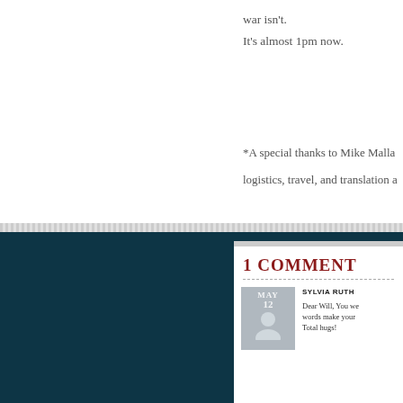war isn't.
It's almost 1pm now.
*A special thanks to Mike Malla logistics, travel, and translation a
1 COMMENT
SYLVIA RUTH
Dear Will, You we words make your Total hugs!